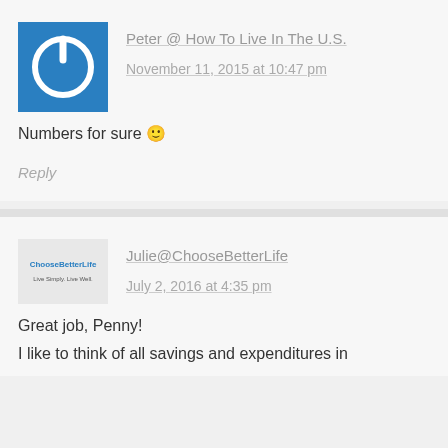[Figure (logo): Blue square icon with white power button symbol]
Peter @ How To Live In The U.S.
November 11, 2015 at 10:47 pm
Numbers for sure 🙂
Reply
[Figure (logo): ChooseBetterLife logo - small rectangular image with text]
Julie@ChooseBetterLife
July 2, 2016 at 4:35 pm
Great job, Penny!
I like to think of all savings and expenditures in